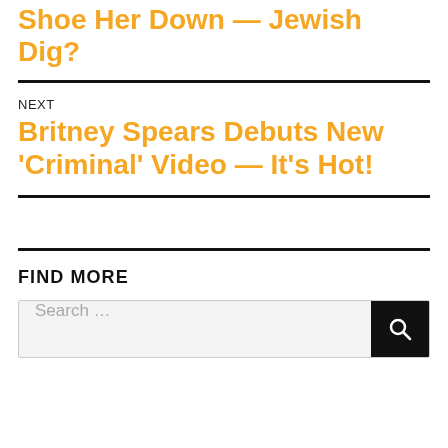Shoe Her Down — Jewish Dig?
NEXT
Britney Spears Debuts New 'Criminal' Video — It's Hot!
FIND MORE
Search …